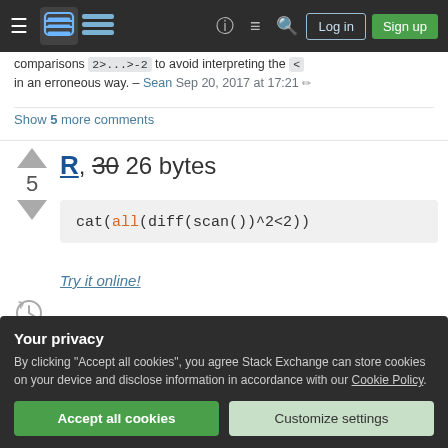Stack Exchange navigation bar with Log in and Sign up buttons
comparisons 2>...>-2 to avoid interpreting the < in an erroneous way. – Sean Sep 20, 2017 at 17:21
Show 5 more comments
R, 30 26 bytes
[Figure (screenshot): Code block showing: cat(all(diff(scan())^2<2))]
Try it online!
Your privacy
By clicking "Accept all cookies", you agree Stack Exchange can store cookies on your device and disclose information in accordance with our Cookie Policy.
Accept all cookies   Customize settings